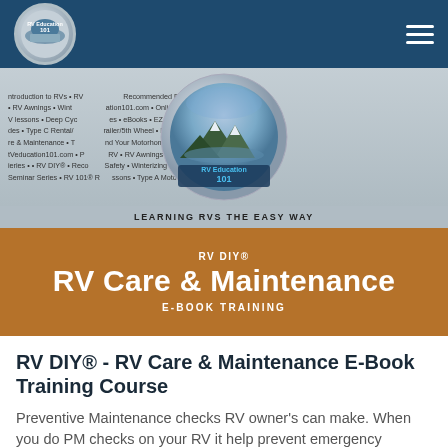[Figure (screenshot): RV Education 101 website screenshot showing logo, navigation, banner image with circular RV Education 101 badge, gold/brown bar with RV DIY Care & Maintenance E-Book Training heading, and introductory text]
RV DIY® - RV Care & Maintenance E-Book Training Course
Preventive Maintenance checks RV owner's can make. When you do PM checks on your RV it help prevent emergency maintenance when you are on the road